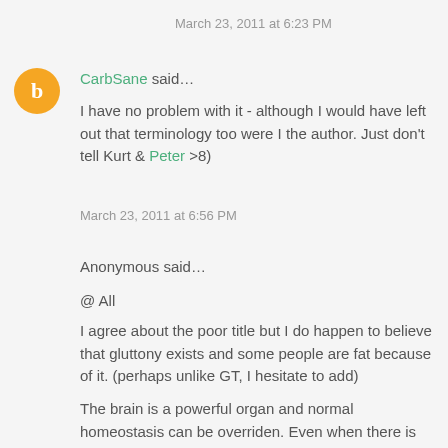March 23, 2011 at 6:23 PM
CarbSane said…
I have no problem with it - although I would have left out that terminology too were I the author. Just don't tell Kurt & Peter >8)
March 23, 2011 at 6:56 PM
Anonymous said…
@ All
I agree about the poor title but I do happen to believe that gluttony exists and some people are fat because of it. (perhaps unlike GT, I hesitate to add)
The brain is a powerful organ and normal homeostasis can be overriden. Even when there is no organic pathology. Think of Hollywood actors like DeNiro in raging bull or